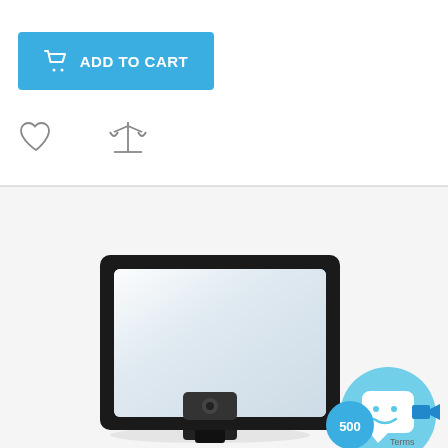[Figure (screenshot): Blue 'Add to Cart' button with shopping cart icon and white text]
[Figure (screenshot): Heart (wishlist) icon and balance scale (compare) icon]
[Figure (photo): LED flood light product photo showing a black-framed rectangular floodlight with frosted white lens panel, angled slightly, on a white/light grey background. A blue chat widget with smiley face icon and '500' counter is partially visible in the bottom right corner.]